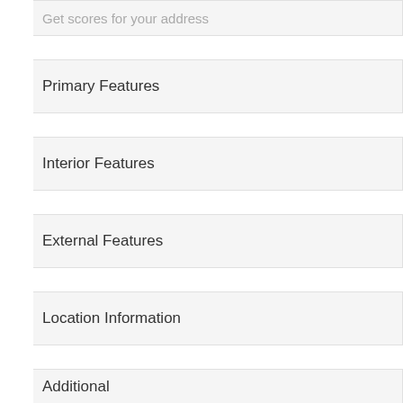Get scores for your address
Primary Features
Interior Features
External Features
Location Information
Additional
Financial Details
Area Info